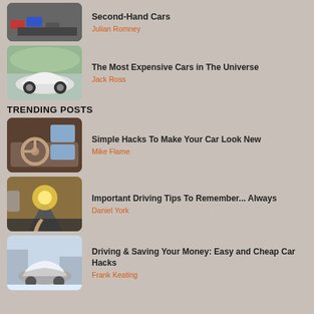[Figure (photo): Aerial view of cars in parking lot]
Second-Hand Cars
Julian Romney
[Figure (photo): White sports car on road]
The Most Expensive Cars in The Universe
Jack Ross
TRENDING POSTS
[Figure (photo): Modern car interior dashboard]
Simple Hacks To Make Your Car Look New
Mike Flame
[Figure (photo): Driver view from car on road at sunset]
Important Driving Tips To Remember... Always
Daniel York
[Figure (photo): Snow-covered cars on winter street]
Driving & Saving Your Money: Easy and Cheap Car Hacks
Frank Keating